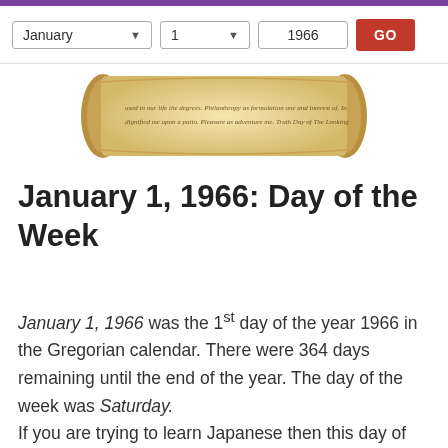January | 1 | 1966 | GO
[Figure (illustration): A decorative scroll/parchment image with cursive handwriting text on it]
January 1, 1966: Day of the Week
January 1, 1966 was the 1st day of the year 1966 in the Gregorian calendar. There were 364 days remaining until the end of the year. The day of the week was Saturday.
If you are trying to learn Japanese then this day of the week in Japanese is